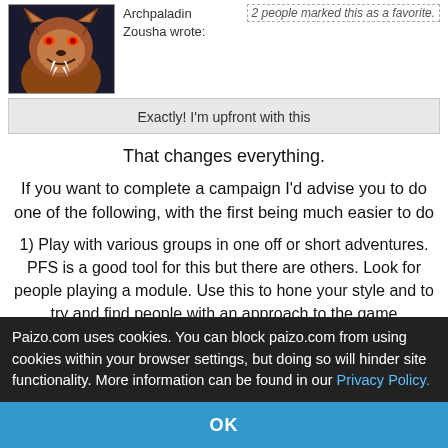Archpaladin   2 people marked this as a favorite.
Zousha wrote:
[Figure (illustration): Fantasy creature avatar - a werewolf/monster with orange fur and fangs, snarling face]
Exactly! I'm upfront with this
That changes everything.
If you want to complete a campaign I'd advise you to do one of the following, with the first being much easier to do
1) Play with various groups in one off or short adventures. PFS is a good tool for this but there are others. Look for people playing a module. Use this to hone your style and to try and find people with an approach to the game compatible to yours. Basically, make gaming friends. This can be done on line or it
Paizo.com uses cookies. You can block paizo.com from using cookies within your browser settings, but doing so will hinder site functionality. More information can be found in our Privacy Policy.
OK